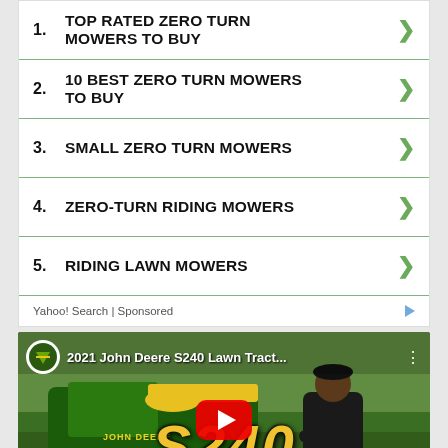1. TOP RATED ZERO TURN MOWERS TO BUY
2. 10 BEST ZERO TURN MOWERS TO BUY
3. SMALL ZERO TURN MOWERS
4. ZERO-TURN RIDING MOWERS
5. RIDING LAWN MOWERS
Yahoo! Search | Sponsored
[Figure (screenshot): YouTube video thumbnail for '2021 John Deere S240 Lawn Tract...' showing a man next to a John Deere S240 lawn tractor with large S240 and Review text overlay and YouTube play button]